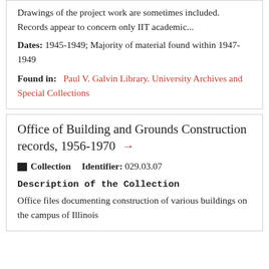Drawings of the project work are sometimes included. Records appear to concern only IIT academic...
Dates: 1945-1949; Majority of material found within 1947-1949
Found in: Paul V. Galvin Library. University Archives and Special Collections
Office of Building and Grounds Construction records, 1956-1970 →
Collection   Identifier: 029.03.07
Description of the Collection
Office files documenting construction of various buildings on the campus of Illinois